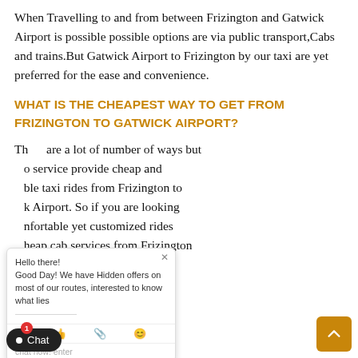When Travelling to and from between Frizington and Gatwick Airport is possible possible options are via public transport,Cabs and trains.But Gatwick Airport to Frizington by our taxi are yet preferred for the ease and convenience.
WHAT IS THE CHEAPEST WAY TO GET FROM FRIZINGTON TO GATWICK AIRPORT?
There are a lot of number of ways but our service provide cheap and affordable taxi rides from Frizington to Gatwick Airport. So if you are looking comfortable yet customized rides cheap cab services from Frizington to Gatwick Airport like Gatwick Minicabs would be ideal.